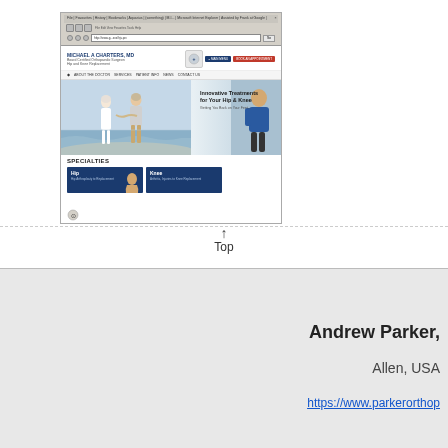[Figure (screenshot): Screenshot of Michael A. Charters, MD orthopedic surgeon website showing hip and knee replacement specialty, with hero image of elderly couple walking on beach and 'Innovative Treatments for Your Hip & Knee' heading, and Specialties section below]
Top
Andrew Parker,
Allen, USA
https://www.parkerorthop